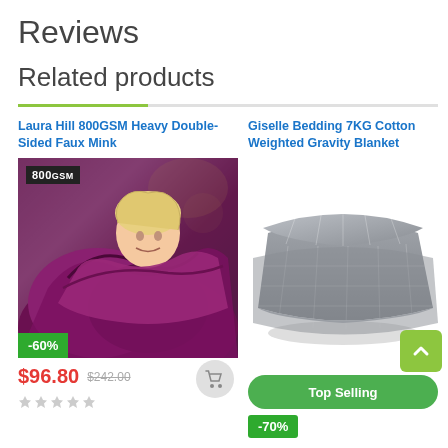Reviews
Related products
Laura Hill 800GSM Heavy Double-Sided Faux Mink
[Figure (photo): Woman wrapped in purple/maroon faux mink blanket with 800GSM badge. -60% discount badge at bottom left.]
$96.80  $242.00
Giselle Bedding 7KG Cotton Weighted Gravity Blanket
[Figure (photo): Folded grey weighted gravity blanket product photo.]
Top Selling